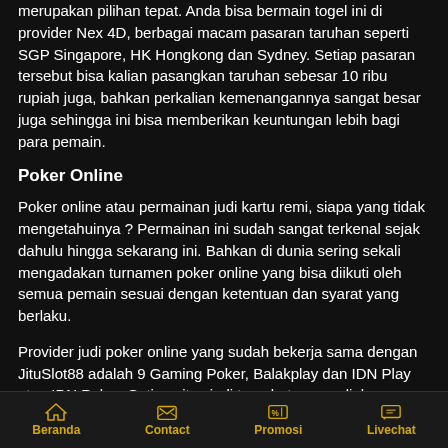merupakan pilihan tepat. Anda bisa bermain togel ini di provider Nex 4D, berbagai macam pasaran taruhan seperti SGP Singapore, HK Hongkong dan Sydney. Setiap pasaran tersebut bisa kalian pasangkan taruhan sebesar 10 ribu rupiah juga, bahkan perkalian kemenangannya sangat besar juga sehingga ini bisa memberikan keuntungan lebih bagi para pemain.
Poker Online
Poker online atau permainan judi kartu remi, siapa yang tidak mengetahuinya ? Permainan ini sudah sangat terkenal sejak dahulu hingga sekarang ini. Bahkan di dunia sering sekali mengadakan turnamen poker online yang bisa diikuti oleh semua pemain sesuai dengan ketentuan dan syarat yang berlaku.
Provider judi poker online yang sudah bekerja sama dengan JituSlot88 adalah 9 Gaming Poker, Balakplay dan IDN Play atau IDN Poker. Setiap situs judi tersebut menyediakan hadiah kemenangan berbeda dan permainan taruhan yang berbeda juga, jadi kalian bisa memilihnya sesuai dengan keinginan tersendiri.
Beranda  Contact  Promosi  Livechat